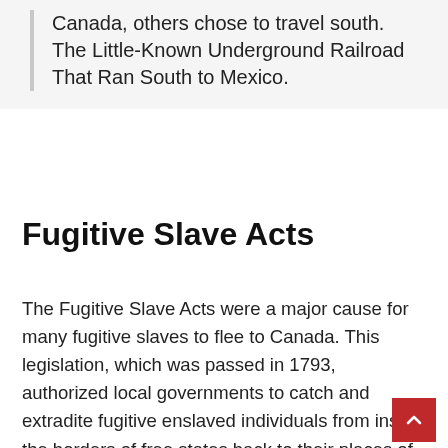Canada, others chose to travel south. The Little-Known Underground Railroad That Ran South to Mexico.
Fugitive Slave Acts
The Fugitive Slave Acts were a major cause for many fugitive slaves to flee to Canada. This legislation, which was passed in 1793, authorized local governments to catch and extradite fugitive enslaved individuals from inside the borders of free states back to their places of origin, as well as to penalize anybody who assisted the fleeing enslaved people. Personal Liberty Laws were introduced in certain northern states to fight this, but they were overturned by the